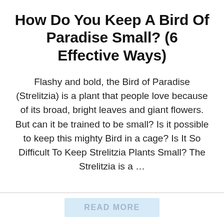How Do You Keep A Bird Of Paradise Small? (6 Effective Ways)
Flashy and bold, the Bird of Paradise (Strelitzia) is a plant that people love because of its broad, bright leaves and giant flowers. But can it be trained to be small? Is it possible to keep this mighty Bird in a cage? Is It So Difficult To Keep Strelitzia Plants Small? The Strelitzia is a …